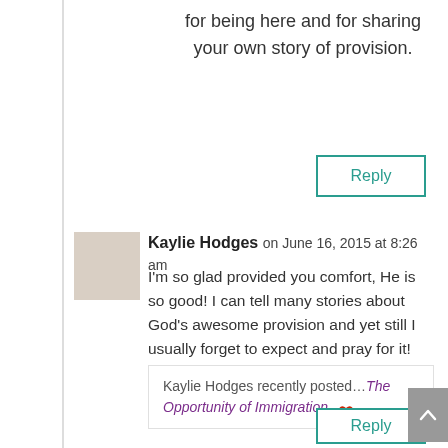for being here and for sharing your own story of provision.
Reply
Kaylie Hodges on June 16, 2015 at 8:26 am
[Figure (photo): User avatar placeholder (light beige square)]
I’m so glad provided you comfort, He is so good! I can tell many stories about God’s awesome provision and yet still I usually forget to expect and pray for it! Thank you for your words. #raralinkup
Kaylie Hodges recently posted…The Opportunity of Immigration 🐹
Reply